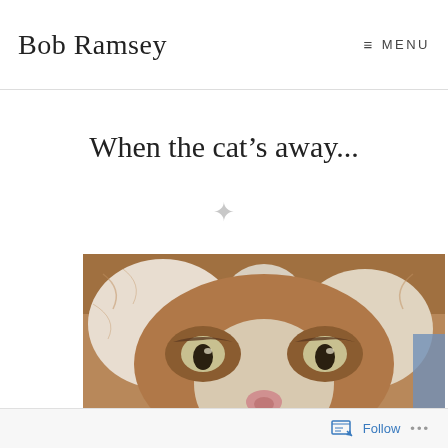Bob Ramsey   ≡ MENU
When the cat's away...
[Figure (photo): Close-up photo of a grumpy-looking cat (Grumpy Cat meme) with brown and white fur, flat facial expression, and intense eyes staring forward.]
Follow  ...